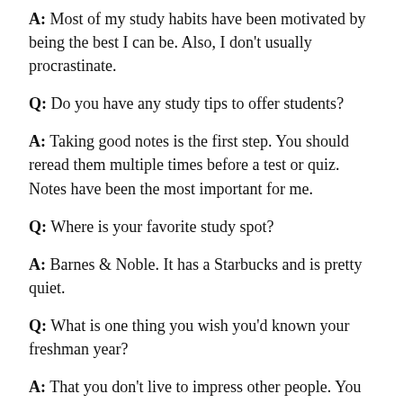A: Most of my study habits have been motivated by being the best I can be. Also, I don't usually procrastinate.
Q: Do you have any study tips to offer students?
A: Taking good notes is the first step. You should reread them multiple times before a test or quiz. Notes have been the most important for me.
Q: Where is your favorite study spot?
A: Barnes & Noble. It has a Starbucks and is pretty quiet.
Q: What is one thing you wish you'd known your freshman year?
A: That you don't live to impress other people. You